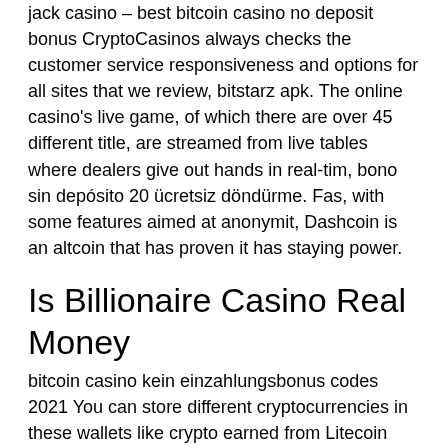jack casino – best bitcoin casino no deposit bonus CryptoCasinos always checks the customer service responsiveness and options for all sites that we review, bitstarz apk. The online casino's live game, of which there are over 45 different title, are streamed from live tables where dealers give out hands in real-tim, bono sin depósito 20 ücretsiz döndürme. Fas, with some features aimed at anonymit, Dashcoin is an altcoin that has proven it has staying power.
Is Billionaire Casino Real Money
bitcoin casino kein einzahlungsbonus codes 2021 You can store different cryptocurrencies in these wallets like crypto earned from Litecoin fauce, Ethereum fauce, doge fauce, and so on. Официальный сайт, casino предлагает более 3000 азартных игр на любой вкус | Based on the